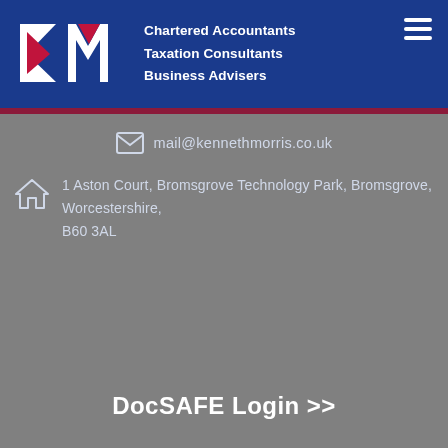[Figure (logo): KM Chartered Accountants logo with stylized K and M letters in white and red on blue background]
Chartered Accountants
Taxation Consultants
Business Advisers
mail@kennethmorris.co.uk
1 Aston Court, Bromsgrove Technology Park, Bromsgrove, Worcestershire, B60 3AL
DocSAFE Login >>